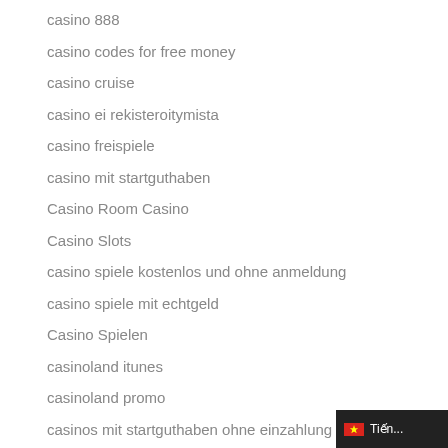casino 888
casino codes for free money
casino cruise
casino ei rekisteroitymista
casino freispiele
casino mit startguthaben
Casino Room Casino
Casino Slots
casino spiele kostenlos und ohne anmeldung
casino spiele mit echtgeld
Casino Spielen
casinoland itunes
casinoland promo
casinos mit startguthaben ohne einzahlung
casinos mobile games